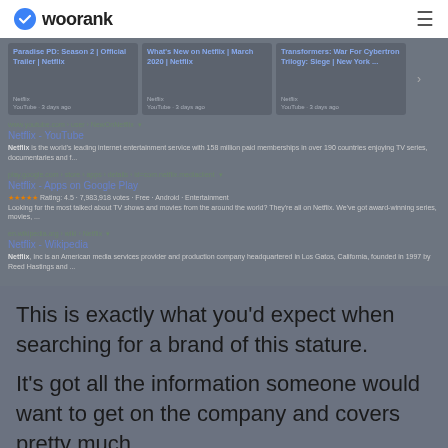woorank
[Figure (screenshot): Google search results page screenshot showing Netflix video cards and organic search results including Netflix - YouTube, Netflix - Apps on Google Play, and Netflix - Wikipedia]
This is exactly what you'd expect when searching for a brand of this stature.
It's got all the information someone would want to get on the company and covers pretty much...